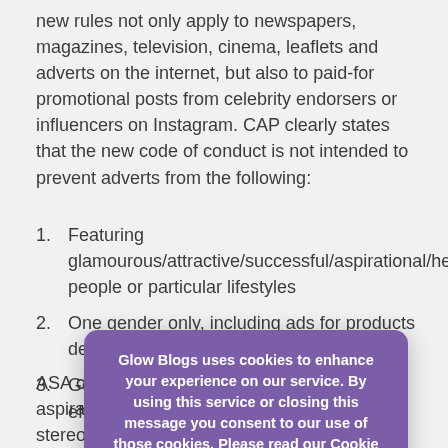new rules not only apply to newspapers, magazines, television, cinema, leaflets and adverts on the internet, but also to paid-for promotional posts from celebrity endorsers or influencers on Instagram. CAP clearly states that the new code of conduct is not intended to prevent adverts from the following:
Featuring glamourous/attractive/successful/aspirational/healthy people or particular lifestyles
One gender only, including ads for products developed for and aimed at one gender
Gender stereotypes … ge their negative effe…
ASA conducted research … roles and aspirations depicted were … gender stereotypes.. Girls were often portrayed in a caring role and boys were shown being more energetic. Further
[Figure (other): Cookie consent modal dialog from Glow Blogs overlaying the page content. Purple rounded rectangle with white bold text reading: 'Glow Blogs uses cookies to enhance your experience on our service. By using this service or closing this message you consent to our use of those cookies. Please read our Cookie Policy.' Below the text is a light gray OK button.]